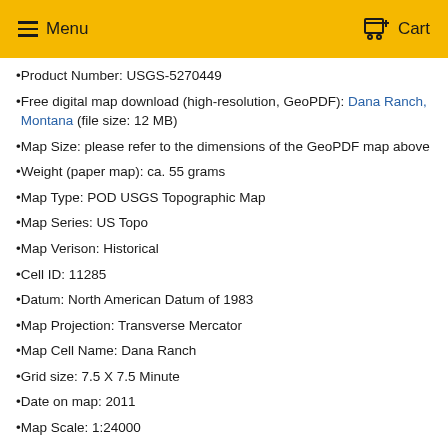Menu   Cart
Product Number: USGS-5270449
Free digital map download (high-resolution, GeoPDF): Dana Ranch, Montana (file size: 12 MB)
Map Size: please refer to the dimensions of the GeoPDF map above
Weight (paper map): ca. 55 grams
Map Type: POD USGS Topographic Map
Map Series: US Topo
Map Verison: Historical
Cell ID: 11285
Datum: North American Datum of 1983
Map Projection: Transverse Mercator
Map Cell Name: Dana Ranch
Grid size: 7.5 X 7.5 Minute
Date on map: 2011
Map Scale: 1:24000